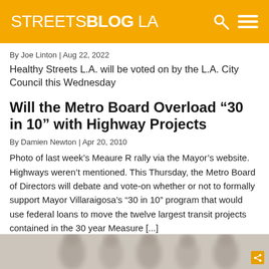STREETSBLOG LA
By Joe Linton | Aug 22, 2022
Healthy Streets L.A. will be voted on by the L.A. City Council this Wednesday
Will the Metro Board Overload “30 in 10” with Highway Projects
By Damien Newton | Apr 20, 2010
Photo of last week’s Meaure R rally via the Mayor’s website.  Highways weren’t mentioned. This Thursday, the Metro Board of Directors will debate and vote-on whether or not to formally support Mayor Villaraigosa’s “30 in 10” program that would use federal loans to move the twelve largest transit projects contained in the 30 year Measure [...]
[Figure (photo): Blurred/silhouetted photo of people at bottom of page]